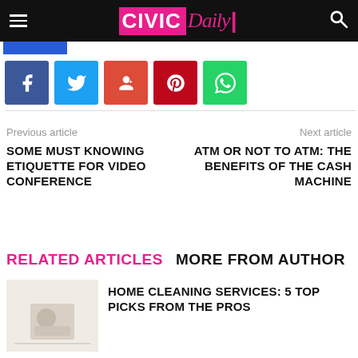CIVIC Daily
[Figure (other): Social share buttons: Facebook, Twitter, Google+, Pinterest, WhatsApp]
Previous article
SOME MUST KNOWING ETIQUETTE FOR VIDEO CONFERENCE
Next article
ATM OR NOT TO ATM: THE BENEFITS OF THE CASH MACHINE
RELATED ARTICLES   MORE FROM AUTHOR
[Figure (photo): Thumbnail image for home cleaning article]
HOME CLEANING SERVICES: 5 TOP PICKS FROM THE PROS